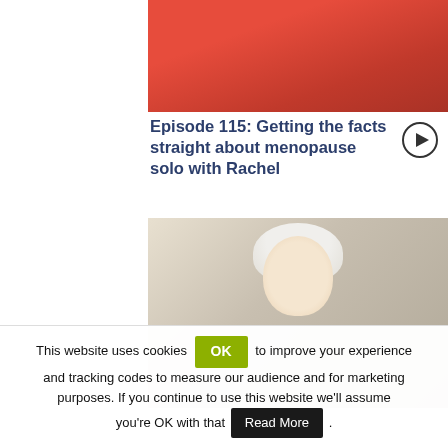[Figure (photo): Partial view of a person in a red outfit, cropped at top]
Episode 115: Getting the facts straight about menopause solo with Rachel
[Figure (photo): Smiling woman with white/blonde hair wearing a white top, resting chin on hand]
This website uses cookies OK to improve your experience and tracking codes to measure our audience and for marketing purposes. If you continue to use this website we'll assume you're OK with that Read More .